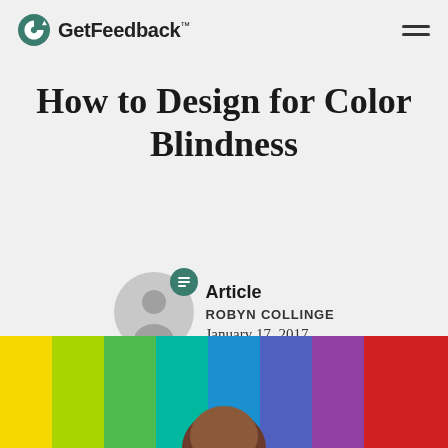GetFeedback™
How to Design for Color Blindness
Article
ROBYN COLLINGE
January 17, 2017
[Figure (photo): Person in front of a rainbow-colored background, bottom portion of the page]